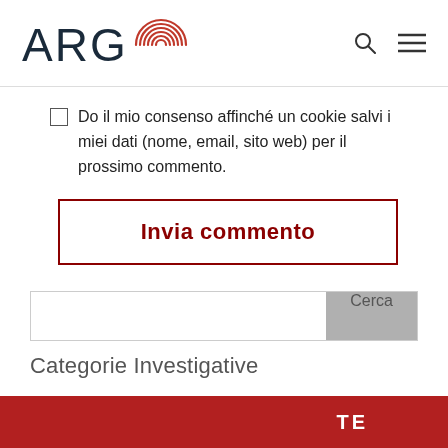ARGO
Do il mio consenso affinché un cookie salvi i miei dati (nome, email, sito web) per il prossimo commento.
Invia commento
Cerca
Categorie Investigative
TE